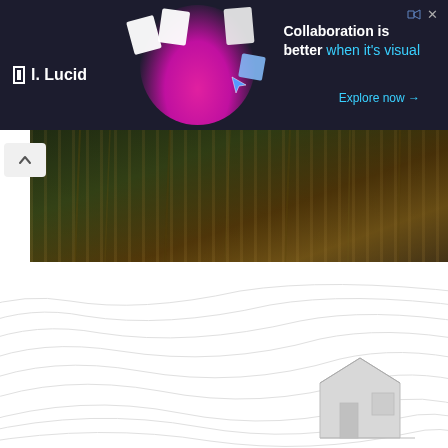[Figure (screenshot): Lucid advertisement banner with dark navy background. Shows 'Collaboration is better when it's visual. Explore now →' text with a woman working on a laptop graphic.]
[Figure (photo): Partial photo of lush green and yellow bamboo/grass vegetation in dark moody lighting with a scroll-up chevron button overlay.]
"The design brings the experience of living in a beautifully crafted physical artwork that inspires all aspects of our life. We love the feeling of calm and the fact that the space grounds us in the natural surrounds." - clients
[Figure (illustration): Decorative white background with light grey topographic contour lines and a partial architectural line drawing in the bottom right corner.]